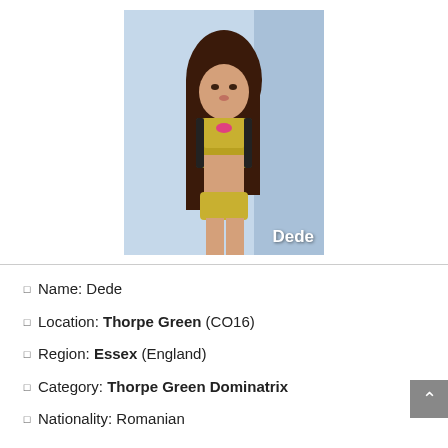[Figure (photo): Photo of a woman named Dede with long dark hair, wearing a yellow and black outfit, with a blue background. The name 'Dede' is overlaid in white text at the bottom right.]
Name: Dede
Location: Thorpe Green (CO16)
Region: Essex (England)
Category: Thorpe Green Dominatrix
Nationality: Romanian